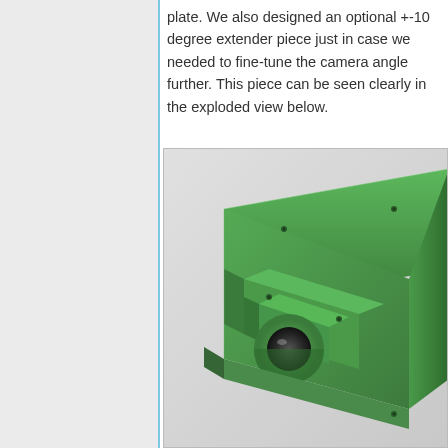plate. We also designed an optional +-10 degree extender piece just in case we needed to fine-tune the camera angle further. This piece can be seen clearly in the exploded view below.
[Figure (engineering-diagram): 3D rendered engineering diagram showing a green camera mount bracket assembly with a cylindrical lens opening, viewed from an angle, showing stepped mounting plates and screw holes.]